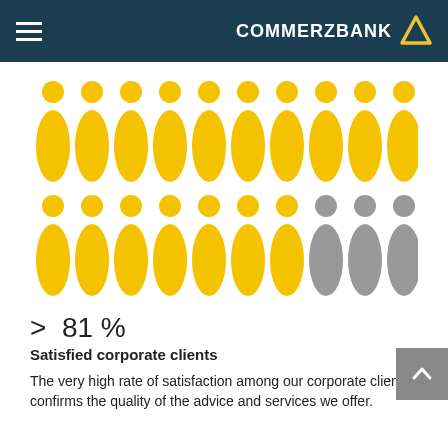COMMERZBANK
[Figure (infographic): Infographic showing 20 person icons in two rows of 10. Row 1: all 10 icons are yellow/gold. Row 2: 7 icons are yellow/gold, 3 icons are grey. Represents >81% satisfaction rate among corporate clients.]
> 81 %
Satisfied corporate clients
The very high rate of satisfaction among our corporate clients confirms the quality of the advice and services we offer.